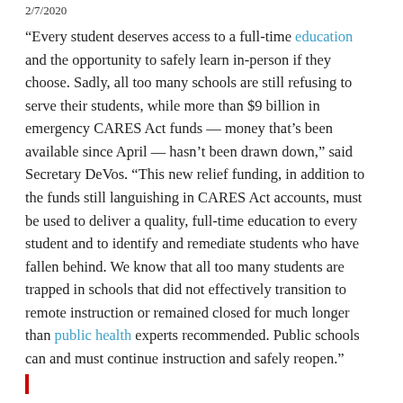2/7/2020
“Every student deserves access to a full-time education and the opportunity to safely learn in-person if they choose. Sadly, all too many schools are still refusing to serve their students, while more than $9 billion in emergency CARES Act funds — money that’s been available since April — hasn’t been drawn down,” said Secretary DeVos. “This new relief funding, in addition to the funds still languishing in CARES Act accounts, must be used to deliver a quality, full-time education to every student and to identify and remediate students who have fallen behind. We know that all too many students are trapped in schools that did not effectively transition to remote instruction or remained closed for much longer than public health experts recommended. Public schools can and must continue instruction and safely reopen.”